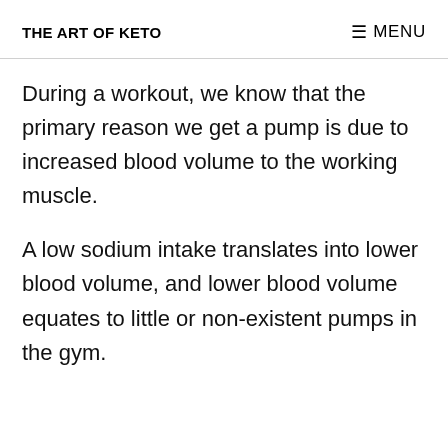THE ART OF KETO   ≡ MENU
During a workout, we know that the primary reason we get a pump is due to increased blood volume to the working muscle.
A low sodium intake translates into lower blood volume, and lower blood volume equates to little or non-existent pumps in the gym.